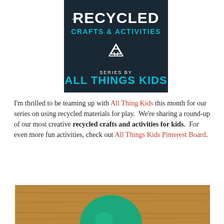[Figure (illustration): Dark blue-grey textured banner image reading 'RECYCLED CRAFTS & ACTIVITIES' with recycle symbol and 'SERIES BY ALL THINGS KIDS' in teal/cyan text]
I'm thrilled to be teaming up with All Thing Kids this month for our series on using recycled materials for play.  We're sharing a round-up of our most creative recycled crafts and activities for kids.  For even more fun activities, check out All Things Kids Pinterest Board.
[Figure (photo): Photo showing a teal/green rounded object (possibly a balloon or ball) on a wooden surface background, cropped at bottom of page]